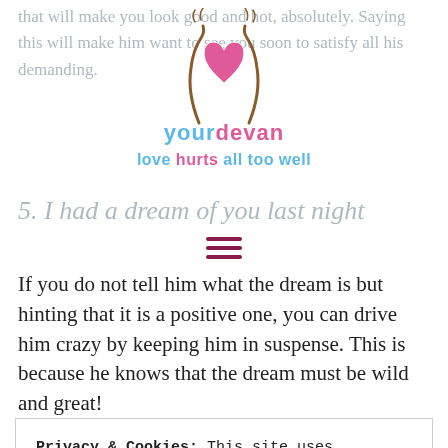that will make you look good and hot, absolutely. Saying this will make him want to see you soon to satisfy all his demanding.
[Figure (logo): yourdevan website logo with stylized hands around a heart, text 'yourdevan' and tagline 'love hurts all too well']
5. I had a dream of you last night
If you do not tell him what the dream is but hinting that it is a positive one, you can drive him crazy by keeping him in suspense. This is because he knows that the dream must be wild and great!
Privacy & Cookies: This site uses cookies. By continuing to use this website, you agree to their use.
To find out more, including how to control cookies, see here: Cookie Policy
CLOSE AND ACCEPT